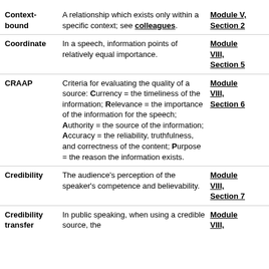Context-bound | A relationship which exists only within a specific context; see colleagues. | Module V, Section 2
Coordinate | In a speech, information points of relatively equal importance. | Module VIII, Section 5
CRAAP | Criteria for evaluating the quality of a source: Currency = the timeliness of the information; Relevance = the importance of the information for the speech; Authority = the source of the information; Accuracy = the reliability, truthfulness, and correctness of the content; Purpose = the reason the information exists. | Module VIII, Section 6
Credibility | The audience's perception of the speaker's competence and believability. | Module VIII, Section 7
Credibility transfer | In public speaking, when using a credible source, the | Module VIII,